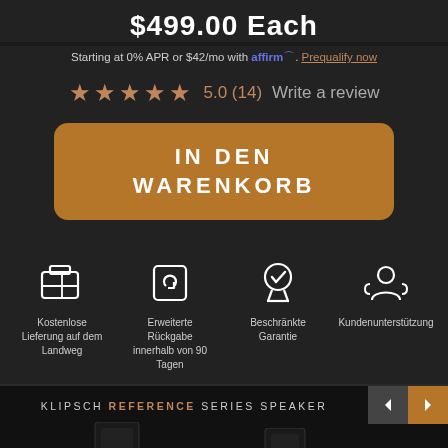$499.00 Each
Starting at 0% APR or $42/mo with affirm. Prequalify now
★★★★★ 5.0 (14)  Write a review
IN DEN WARENKORB
Kostenlose Lieferung auf dem Landweg
Erweiterte Rückgabe innerhalb von 90 Tagen
Beschränkte Garantie
Kundenunterstützung
KLIPSCH REFERENCE SERIES SPEAKER
[Figure (photo): Klipsch Reference Series speakers displayed: two floor-standing speakers and one center channel speaker on a dark background]